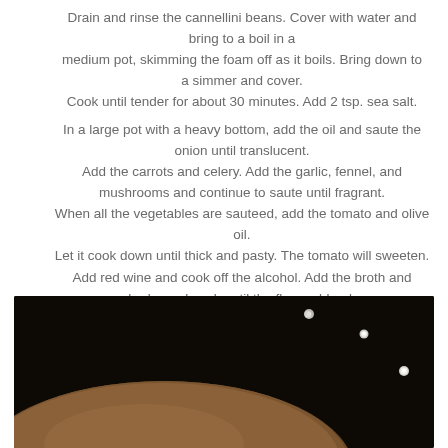Drain and rinse the cannellini beans. Cover with water and bring to a boil in a medium pot, skimming the foam off as it boils. Bring down to a simmer and cover. Cook until tender for about 30 minutes. Add 2 tsp. sea salt.
In a large pot with a heavy bottom, add the oil and saute the onion until translucent. Add the carrots and celery. Add the garlic, fennel, and mushrooms and continue to saute until fragrant. When all the vegetables are sauteed, add the tomato and olive oil. Let it cook down until thick and pasty. The tomato will sweeten.
Add red wine and cook off the alcohol. Add the broth and herbs and cook until the flavors blend.
[Figure (photo): Dark moody photo of a bowl or pot of food, likely bean soup, on a dark background with small white droplets or pearls visible]